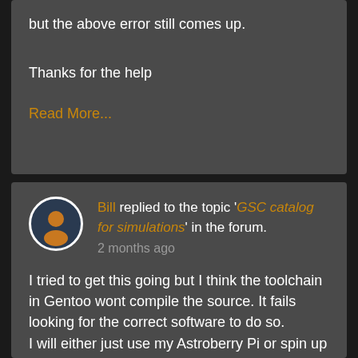but the above error still comes up.
Thanks for the help
Read More...
Bill replied to the topic 'GSC catalog for simulations' in the forum. 2 months ago
I tried to get this going but I think the toolchain in Gentoo wont compile the source. It fails looking for the correct software to do so. I will either just use my Astroberry Pi or spin up an Ubuntu docker image at some point.